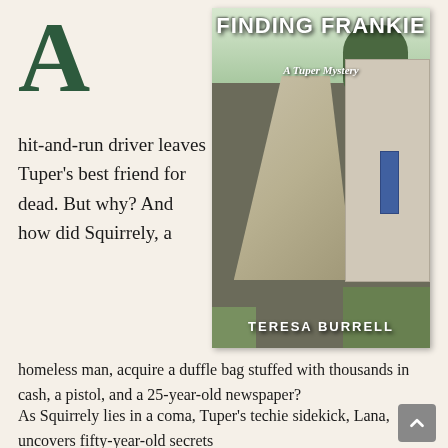[Figure (illustration): Book cover for 'Finding Frankie: A Tuper Mystery' by Teresa Burrell. Shows a rural dirt road scene with weathered white wooden buildings, trees in the background, a blue door, and green grass. Title in bold white text at top, subtitle 'A Tuper Mystery' below, author name 'TERESA BURRELL' at bottom.]
A hit-and-run driver leaves Tuper's best friend for dead. But why? And how did Squirrely, a homeless man, acquire a duffle bag stuffed with thousands in cash, a pistol, and a 25-year-old newspaper?
As Squirrely lies in a coma, Tuper's techie sidekick, Lana, uncovers fifty-year-old secrets